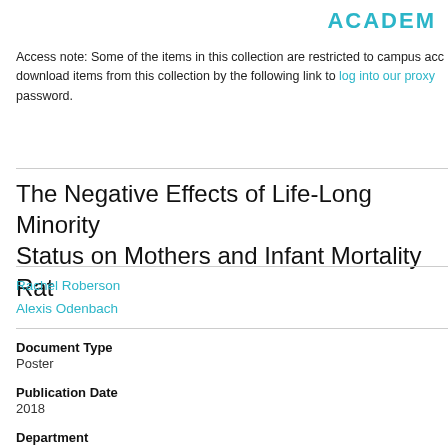ACADE…
Access note: Some of the items in this collection are restricted to campus acc… download items from this collection by the following link to log into our proxy… password.
The Negative Effects of Life-Long Minority Status on Mothers and Infant Mortality Rat…
Rachel Roberson
Alexis Odenbach
Document Type
Poster
Publication Date
2018
Department
Health Promotion
Faculty Advisor